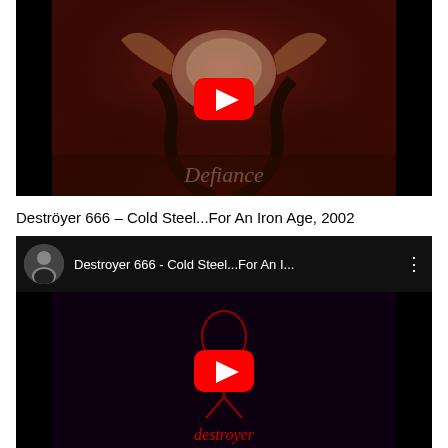[Figure (screenshot): YouTube video thumbnail for Destroyer 666 Defiance album. Dark red/brown album art with a bull skull, serpents, and the word Defiance in gothic text. A YouTube play button (red circle with white triangle) is overlaid in the center. Black bars on sides.]
Deströyer 666 – Cold Steel...For An Iron Age, 2002
[Figure (screenshot): YouTube video embed for Destroyer 666 - Cold Steel...For An I... with a header bar showing a circular avatar (person in black shirt), the video title text, and a vertical dots menu icon. Below is a dark album art thumbnail with a red outlined figure and the Destroyer 666 logo in red gothic text at the bottom. A YouTube play button is overlaid in the center.]